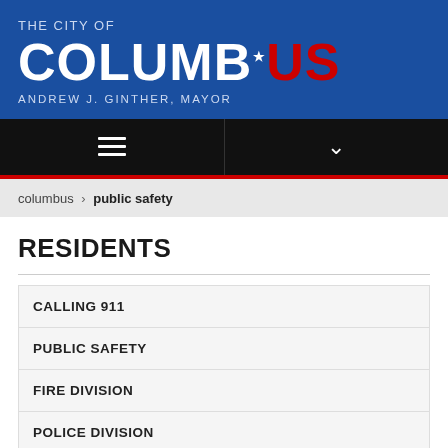[Figure (logo): City of Columbus logo with blue background, white and red text reading THE CITY OF COLUMBUS, and tagline ANDREW J. GINTHER, MAYOR]
THE CITY OF COLUMBUS ANDREW J. GINTHER, MAYOR
columbus › public safety
RESIDENTS
CALLING 911
PUBLIC SAFETY
FIRE DIVISION
POLICE DIVISION
LICENSE SECTION